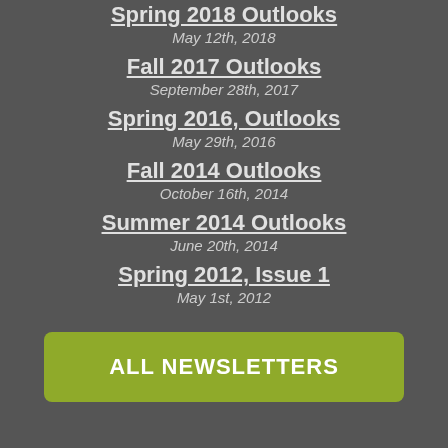Spring 2018 Outlooks
May 12th, 2018
Fall 2017 Outlooks
September 28th, 2017
Spring 2016, Outlooks
May 29th, 2016
Fall 2014 Outlooks
October 16th, 2014
Summer 2014 Outlooks
June 20th, 2014
Spring 2012, Issue 1
May 1st, 2012
ALL NEWSLETTERS